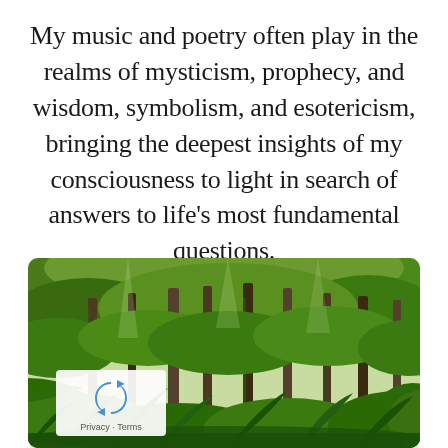My music and poetry often play in the realms of mysticism, prophecy, and wisdom, symbolism, and esotericism, bringing the deepest insights of my consciousness to light in search of answers to life’s most fundamental questions.
[Figure (photo): A lush tropical rainforest with tall tree trunks covered in moss and vines, dense green foliage, ferns, and palm fronds in the foreground and background.]